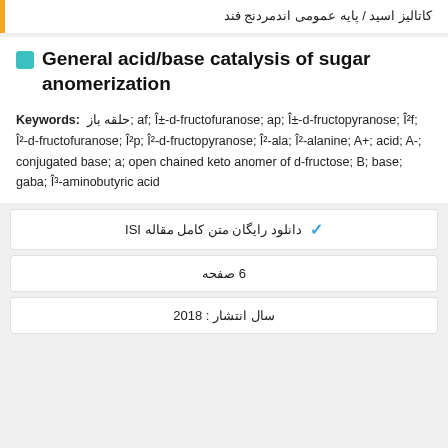کاتالیز اسید / پایه عمومی اندمردنج فند
General acid/base catalysis of sugar anomerization
Keywords: حلقه باز; af; Î±-d-fructofuranose; ap; Î±-d-fructopyranose; Î²f; Î²-d-fructofuranose; Î²p; Î²-d-fructopyranose; Î²-ala; Î²-alanine; A+; acid; A-; conjugated base; a; open chained keto anomer of d-fructose; B; base; gaba; Î³-aminobutyric acid
دانلود رایگان متن کامل مقاله ISI
6 صفحه
سال انتشار : 2018